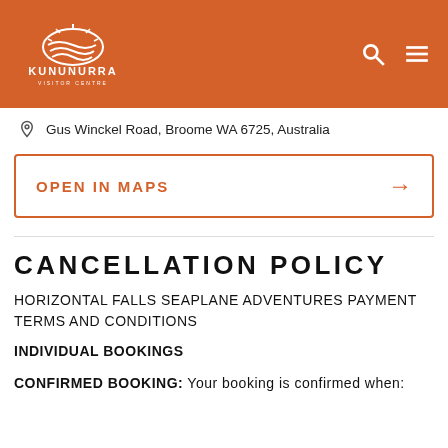Kununurra Visitor Centre
Gus Winckel Road, Broome WA 6725, Australia
OPEN IN MAPS →
CANCELLATION POLICY
HORIZONTAL FALLS SEAPLANE ADVENTURES PAYMENT TERMS AND CONDITIONS
INDIVIDUAL BOOKINGS
CONFIRMED BOOKING: Your booking is confirmed when: